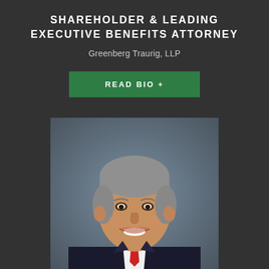SHAREHOLDER & LEADING EXECUTIVE BENEFITS ATTORNEY
Greenberg Traurig, LLP
READ BIO +
[Figure (photo): Professional headshot of a middle-aged man in a dark suit and red tie, smiling, with grey hair, against a grey/blue blurred background.]